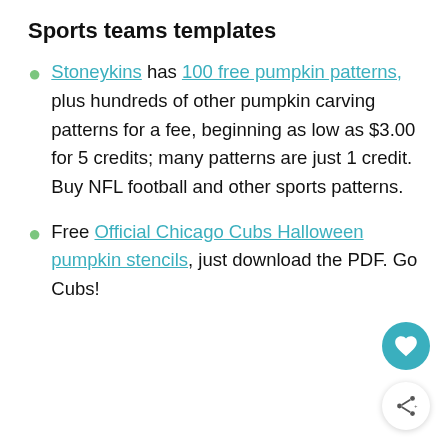Sports teams templates
Stoneykins has 100 free pumpkin patterns, plus hundreds of other pumpkin carving patterns for a fee, beginning as low as $3.00 for 5 credits; many patterns are just 1 credit. Buy NFL football and other sports patterns.
Free Official Chicago Cubs Halloween pumpkin stencils, just download the PDF. Go Cubs!